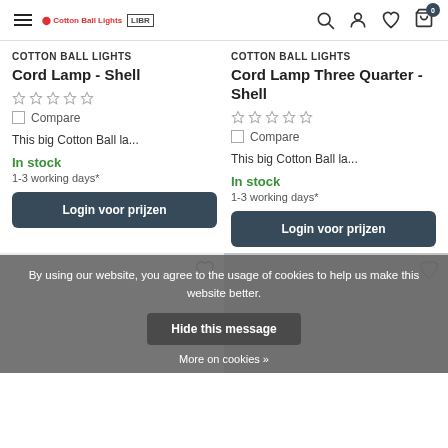Cotton Ball Lights / LIBR — navigation header with hamburger menu, logo, search, account, wishlist, cart (0)
COTTON BALL LIGHTS
Cord Lamp - Shell
★★★★★ (5 stars)
Compare
This big Cotton Ball la...
In stock
1-3 working days*
Login voor prijzen
COTTON BALL LIGHTS
Cord Lamp Three Quarter - Shell
★★★★★ (5 stars)
Compare
This big Cotton Ball la...
In stock
1-3 working days*
Login voor prijzen
By using our website, you agree to the usage of cookies to help us make this website better.
Hide this message
More on cookies »